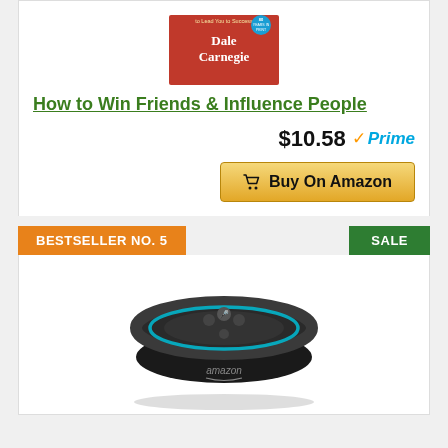[Figure (illustration): Book cover for 'How to Win Friends & Influence People' by Dale Carnegie, red cover with author name in white text]
How to Win Friends & Influence People
$10.58 Prime
Buy On Amazon
BESTSELLER NO. 5
SALE
[Figure (photo): Amazon Echo Dot smart speaker, black circular device with blue ring light and buttons on top, amazon logo visible]